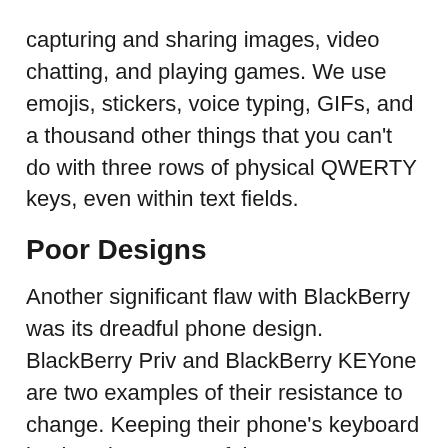capturing and sharing images, video chatting, and playing games. We use emojis, stickers, voice typing, GIFs, and a thousand other things that you can't do with three rows of physical QWERTY keys, even within text fields.
Poor Designs
Another significant flaw with BlackBerry was its dreadful phone design. BlackBerry Priv and BlackBerry KEYone are two examples of their resistance to change. Keeping their phone's keyboard in place is a waste of time